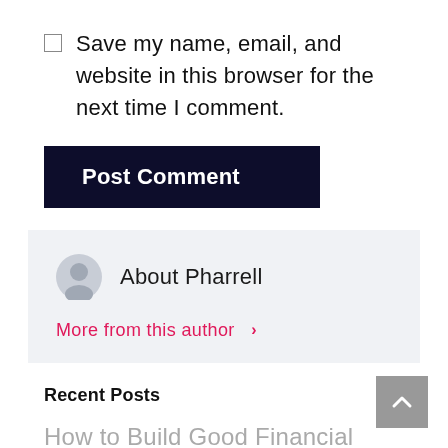Save my name, email, and website in this browser for the next time I comment.
Post Comment
About Pharrell
More from this author >
Recent Posts
How to Build Good Financial Habits and Live Debt Free?